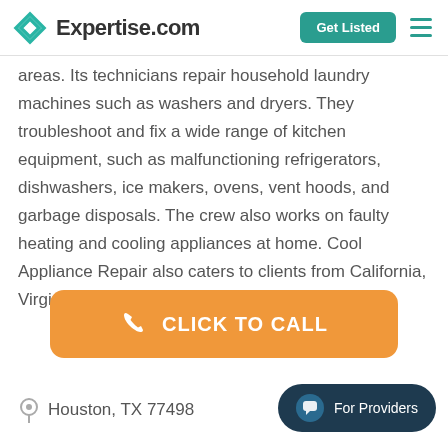Expertise.com | Get Listed
areas. Its technicians repair household laundry machines such as washers and dryers. They troubleshoot and fix a wide range of kitchen equipment, such as malfunctioning refrigerators, dishwashers, ice makers, ovens, vent hoods, and garbage disposals. The crew also works on faulty heating and cooling appliances at home. Cool Appliance Repair also caters to clients from California, Virginia, DC, and Maryland.
[Figure (other): Orange button with phone icon and text CLICK TO CALL]
Houston, TX 77498
[Figure (other): Dark teal pill-shaped button with chat icon and text For Providers]